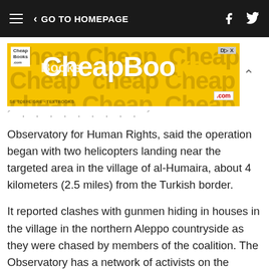GO TO HOMEPAGE
[Figure (other): CheapBooks.com advertisement banner with yellow background]
Observatory for Human Rights, said the operation began with two helicopters landing near the targeted area in the village of al-Humaira, about 4 kilometers (2.5 miles) from the Turkish border.
It reported clashes with gunmen hiding in houses in the village in the northern Aleppo countryside as they were chased by members of the coalition. The Observatory has a network of activists on the ground in Syria.